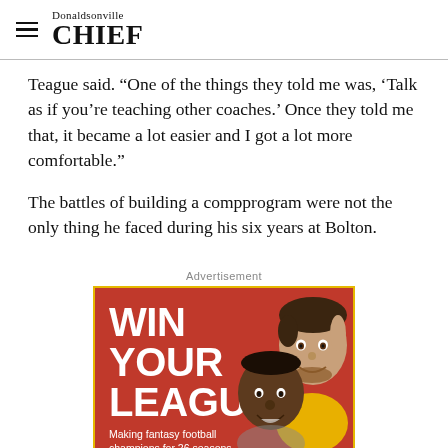Donaldsonville CHIEF
Teague said. “One of the things they told me was, ‘Talk as if you’re teaching other coaches.’ Once they told me that, it became a lot easier and I got a lot more comfortable.”
The battles of building a compprogram were not the only thing he faced during his six years at Bolton.
Advertisement
[Figure (illustration): Red advertisement banner reading WIN YOUR LEAGUE. Making fantasy football champions for 26 seasons, with cartoon faces of two men on the right side.]